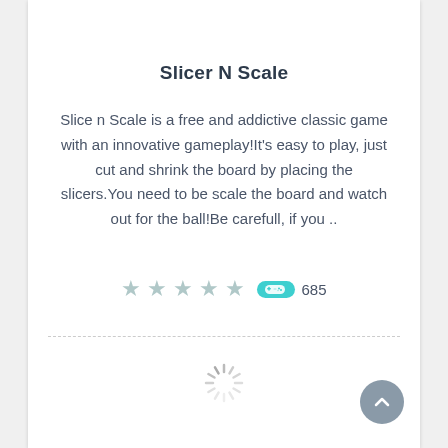Slicer N Scale
Slice n Scale is a free and addictive classic game with an innovative gameplay!It's easy to play, just cut and shrink the board by placing the slicers.You need to be scale the board and watch out for the ball!Be carefull, if you ..
[Figure (infographic): Five star rating icons (empty/grey-green) followed by a teal controller badge icon and play count of 685]
[Figure (infographic): Loading spinner icon (circular spokes in grey)]
[Figure (infographic): Back-to-top circular button with upward chevron arrow in grey]